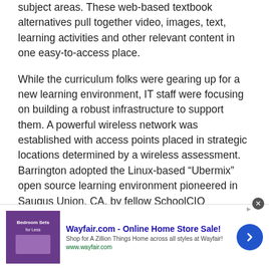subject areas. These web-based textbook alternatives pull together video, images, text, learning activities and other relevant content in one easy-to-access place.
While the curriculum folks were gearing up for a new learning environment, IT staff were focusing on building a robust infrastructure to support them. A powerful wireless network was established with access points placed in strategic locations determined by a wireless assessment. Barrington adopted the Linux-based “Ubermix” open source learning environment pioneered in Saugus Union, CA, by fellow SchoolCIO participant Jim Klein. They also got rid of the cumbersome log-in procedures that had slowed student and teachers down in the past.
[Figure (other): Wayfair.com advertisement banner: 'Wayfair.com - Online Home Store Sale!' with bedroom furniture image, description text, URL www.wayfair.com, and a blue arrow button.]